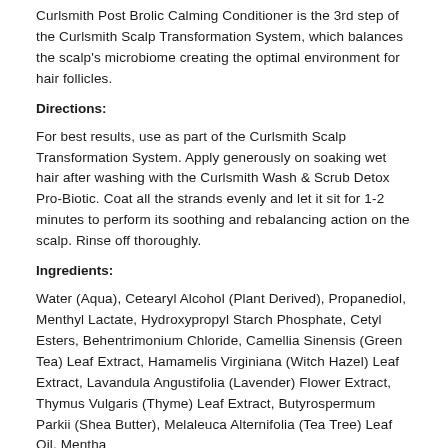Curlsmith Post Brolic Calming Conditioner is the 3rd step of the Curlsmith Scalp Transformation System, which balances the scalp's microbiome creating the optimal environment for hair follicles.
Directions:
For best results, use as part of the Curlsmith Scalp Transformation System. Apply generously on soaking wet hair after washing with the Curlsmith Wash & Scrub Detox Pro-Biotic. Coat all the strands evenly and let it sit for 1-2 minutes to perform its soothing and rebalancing action on the scalp. Rinse off thoroughly.
Ingredients:
Water (Aqua), Cetearyl Alcohol (Plant Derived), Propanediol, Menthyl Lactate, Hydroxypropyl Starch Phosphate, Cetyl Esters, Behentrimonium Chloride, Camellia Sinensis (Green Tea) Leaf Extract, Hamamelis Virginiana (Witch Hazel) Leaf Extract, Lavandula Angustifolia (Lavender) Flower Extract, Thymus Vulgaris (Thyme) Leaf Extract, Butyrospermum Parkii (Shea Butter), Melaleuca Alternifolia (Tea Tree) Leaf Oil, Mentha